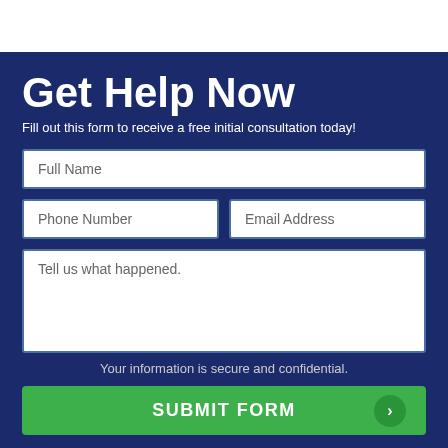Get Help Now
Fill out this form to receive a free initial consultation today!
Full Name
Phone Number
Email Address
Tell us what happened.
Your information is secure and confidential.
SUBMIT FORM